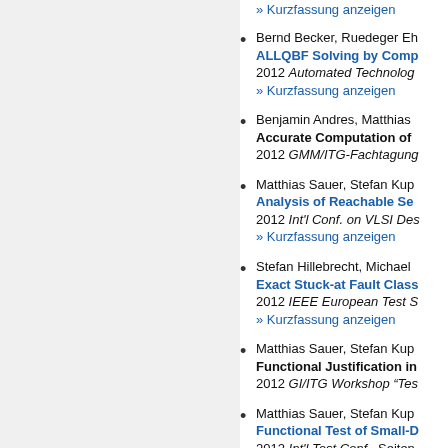» Kurzfassung anzeigen
Bernd Becker, Ruedeger Eh... ALLQBF Solving by Comp... 2012 Automated Technology... » Kurzfassung anzeigen
Benjamin Andres, Matthias... Accurate Computation of... 2012 GMM/ITG-Fachtagung...
Matthias Sauer, Stefan Kup... Analysis of Reachable Se... 2012 Int'l Conf. on VLSI Des... » Kurzfassung anzeigen
Stefan Hillebrecht, Michael... Exact Stuck-at Fault Class... 2012 IEEE European Test S... » Kurzfassung anzeigen
Matthias Sauer, Stefan Kup... Functional Justification in... 2012 GI/ITG Workshop "Tes...
Matthias Sauer, Stefan Kup... Functional Test of Small-D... 2012 Int'l Test Conf., Seiten... » Kurzfassung anzeigen
Paolo Marin, Christian Mille... Incremental QBF Prepro... 2012 Int'l Conf. on Theory a... » Kurzfassung anzeigen